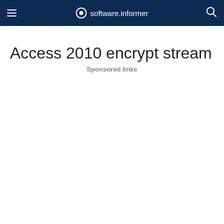software.informer
Access 2010 encrypt stream
Sponsored links